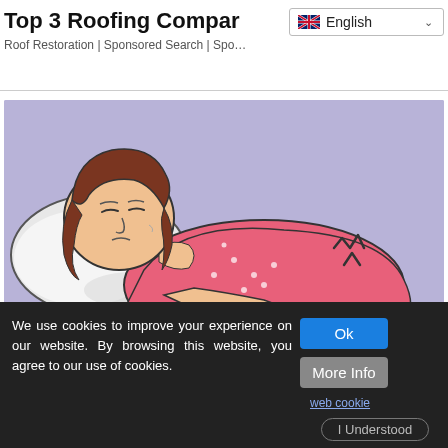Top 3 Roofing Compa...
Roof Restoration | Sponsored Search | Spo...
[Figure (illustration): Cartoon illustration of a woman lying on her side in pain, wearing a pink top, holding her stomach area. The background is light purple/lavender. She appears to be experiencing abdominal pain with pain lines drawn near her stomach.]
Signs of Ulcerative Colitis (Catching It Early Matters)
We use cookies to improve your experience on our website. By browsing this website, you agree to our use of cookies.